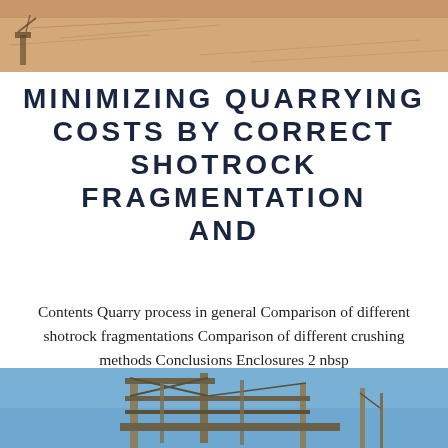[Figure (photo): Aerial or landscape view of a quarry site with sandy terrain and machinery visible at top of page]
MINIMIZING QUARRYING COSTS BY CORRECT SHOTROCK FRAGMENTATION AND
Contents Quarry process in general Comparison of different shotrock fragmentations Comparison of different crushing methods Conclusions Enclosures 2 nbsp
[Figure (photo): Industrial crushing/processing equipment structure against a blue sky at bottom of page]